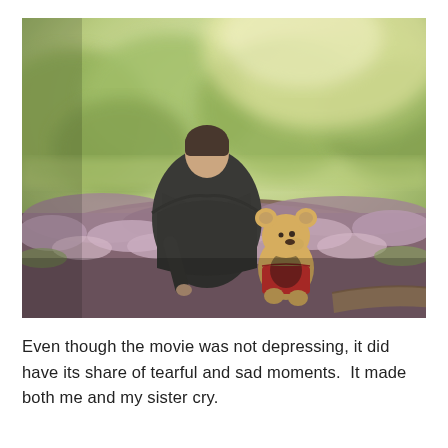[Figure (photo): A man in a dark suit jacket sits with his back to the camera, head bowed, next to a small stuffed Winnie-the-Pooh bear wearing a red shirt. They are seated on a hillside covered in purple heather wildflowers, with a blurred green forest in the background bathed in warm golden light.]
Even though the movie was not depressing, it did have its share of tearful and sad moments.  It made both me and my sister cry.